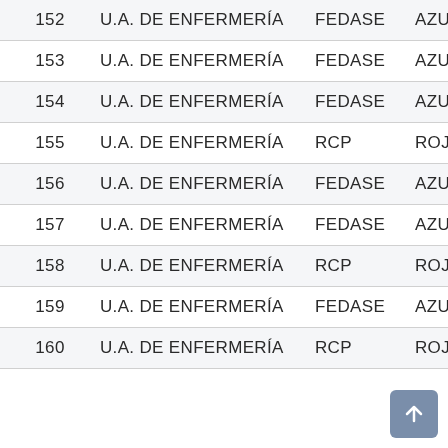| # | UNIDAD ACADÉMICA | PROGRAMA | COLOR |
| --- | --- | --- | --- |
| 152 | U.A. DE ENFERMERÍA | FEDASE | AZUL |
| 153 | U.A. DE ENFERMERÍA | FEDASE | AZUL |
| 154 | U.A. DE ENFERMERÍA | FEDASE | AZUL |
| 155 | U.A. DE ENFERMERÍA | RCP | ROJA |
| 156 | U.A. DE ENFERMERÍA | FEDASE | AZUL |
| 157 | U.A. DE ENFERMERÍA | FEDASE | AZUL |
| 158 | U.A. DE ENFERMERÍA | RCP | ROJA |
| 159 | U.A. DE ENFERMERÍA | FEDASE | AZUL |
| 160 | U.A. DE ENFERMERÍA | RCP | ROJA |